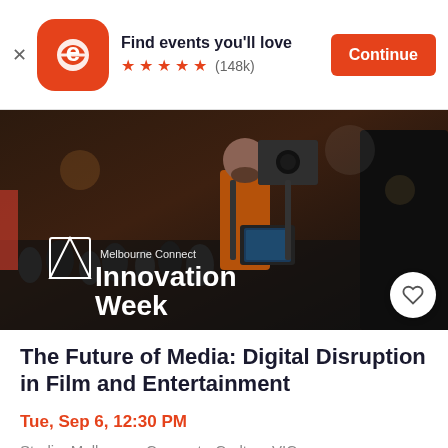[Figure (screenshot): Eventbrite app banner with logo, 'Find events you'll love' text, 5 stars (148k reviews), and orange Continue button]
[Figure (photo): Melbourne Connect Innovation Week event photo showing a videographer with camera equipment in a crowded city street with the text 'Melbourne Connect Innovation Week' overlaid]
The Future of Media: Digital Disruption in Film and Entertainment
Tue, Sep 6, 12:30 PM
Studio, Melbourne Connect • Carlton, VIC
Free